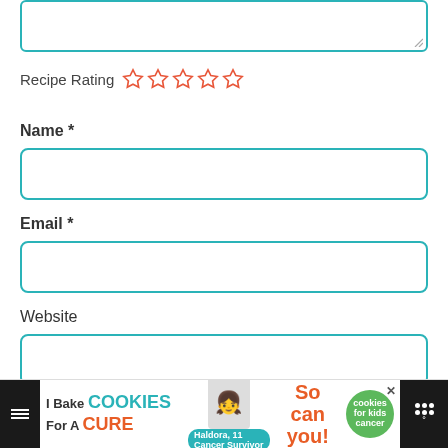[Figure (screenshot): Partial textarea with teal border at top of page]
Recipe Rating ☆☆☆☆☆
Name *
[Figure (screenshot): Empty text input field with teal border for Name]
Email *
[Figure (screenshot): Empty text input field with teal border for Email]
Website
[Figure (screenshot): Empty text input field with teal border for Website]
Notify me if Marisa replies to my comment.
[Figure (screenshot): Advertisement banner: I Bake COOKIES For A CURE - Haldora, 11 Cancer Survivor - So can you! - cookies for kids cancer]